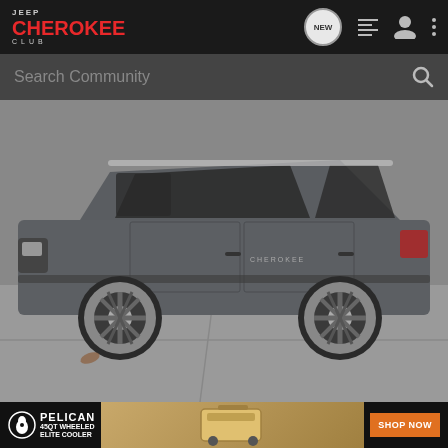Jeep Cherokee Club – NEW | List | User | Menu
Search Community
[Figure (photo): Side profile view of a gray Jeep Cherokee parked on a concrete surface outdoors.]
[Figure (infographic): Advertisement banner for Pelican 45QT Wheeled Elite Cooler with SHOP NOW button.]